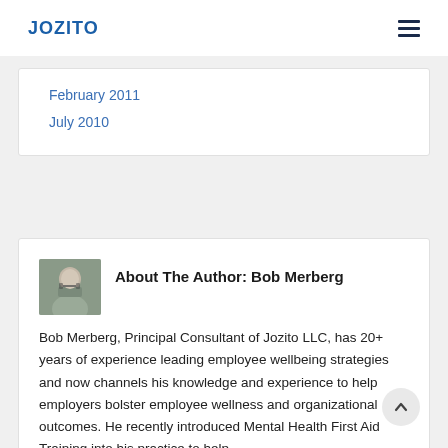JOZITO
February 2011
July 2010
About The Author: Bob Merberg
Bob Merberg, Principal Consultant of Jozito LLC, has 20+ years of experience leading employee wellbeing strategies and now channels his knowledge and experience to help employers bolster employee wellness and organizational outcomes. He recently introduced Mental Health First Aid Training into his practice to help